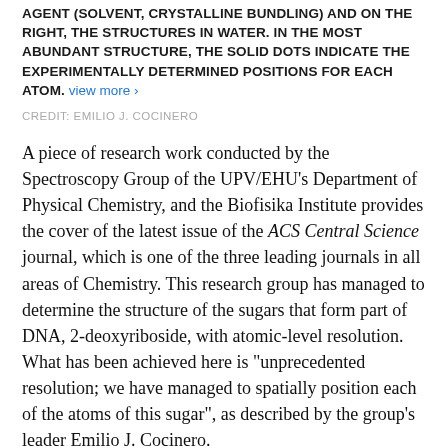AGENT (SOLVENT, CRYSTALLINE BUNDLING) AND ON THE RIGHT, THE STRUCTURES IN WATER. IN THE MOST ABUNDANT STRUCTURE, THE SOLID DOTS INDICATE THE EXPERIMENTALLY DETERMINED POSITIONS FOR EACH ATOM. view more ›
CREDIT: EMILIO J. COCINERO
A piece of research work conducted by the Spectroscopy Group of the UPV/EHU's Department of Physical Chemistry, and the Biofisika Institute provides the cover of the latest issue of the ACS Central Science journal, which is one of the three leading journals in all areas of Chemistry. This research group has managed to determine the structure of the sugars that form part of DNA, 2-deoxyriboside, with atomic-level resolution. What has been achieved here is "unprecedented resolution; we have managed to spatially position each of the atoms of this sugar", as described by the group's leader Emilio J. Cocinero.
Cocinero regards this outcome as the culmination of a piece of work that has taken them over ten years: "This outcome has been made possible thanks to the increase in the sensitivity of the